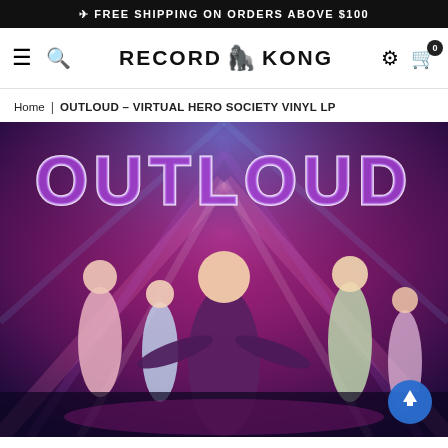FREE SHIPPING ON ORDERS ABOVE $100
[Figure (logo): Record Kong logo with hamburger menu, search icon, gorilla emoji, settings icon and cart with badge 0]
Home | OUTLOUD - VIRTUAL HERO SOCIETY VINYL LP
[Figure (photo): Album cover art for Outloud – Virtual Hero Society Vinyl LP. Colorful action scene with multiple young performers and the word OUTLOUD in large stylized letters at the top, set against a vivid pink and purple background.]